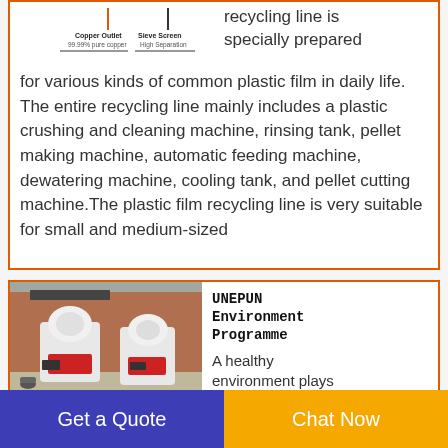[Figure (schematic): Diagram showing copper outlet (99.99% pure copper) and sieve screen (high separation) labels with arrows on recycling machine schematic]
recycling line is specially prepared for various kinds of common plastic film in daily life. The entire recycling line mainly includes a plastic crushing and cleaning machine, rinsing tank, pellet making machine, automatic feeding machine, dewatering machine, cooling tank, and pellet cutting machine.The plastic film recycling line is very suitable for small and medium-sized
[Figure (photo): Photo of industrial recycling machines (white and red) on a concrete floor with a brick wall and motorcycle in the background]
UNEPUN Environment Programme
A healthy environment plays
Get a Quote
Chat Now